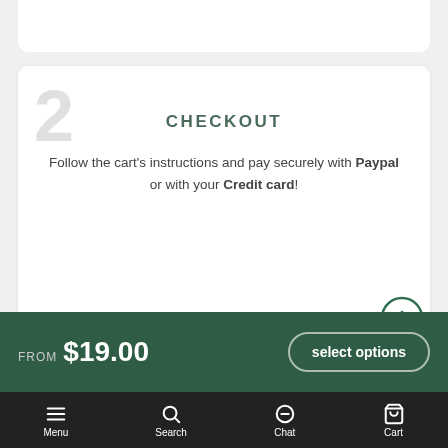2
CHECKOUT
Follow the cart's instructions and pay securely with Paypal or with your Credit card!
FROM $19.00
select options
Menu  Search  Chat  Cart